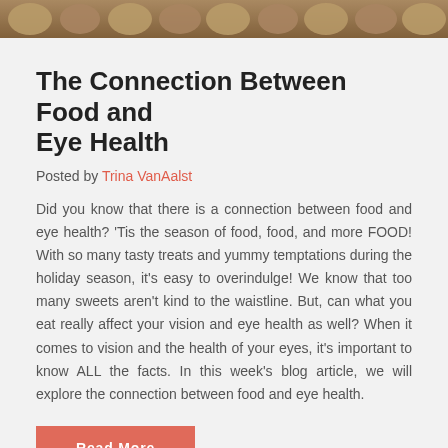[Figure (photo): Cropped top portion of a photo showing food items (nuts/cookies) with warm brown tones]
The Connection Between Food and Eye Health
Posted by Trina VanAalst
Did you know that there is a connection between food and eye health? 'Tis the season of food, food, and more FOOD! With so many tasty treats and yummy temptations during the holiday season, it's easy to overindulge! We know that too many sweets aren't kind to the waistline. But, can what you eat really affect your vision and eye health as well? When it comes to vision and the health of your eyes, it's important to know ALL the facts. In this week's blog article, we will explore the connection between food and eye health.
Read More